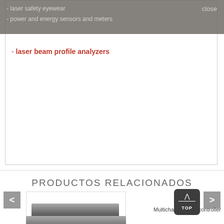- laser safety eyewear
- power and energy sensors and meters
- laser beam profile analyzers
PRODUCTOS RELACIONADOS
[Figure (screenshot): Navigation arrows (left and right) for a product carousel, with a product card showing a Multichannel TEC controller and a TOP button]
Multichannel TEC controller
[Figure (photo): Image of a rack-mounted electronic device (Multichannel TEC controller)]